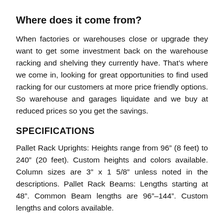Where does it come from?
When factories or warehouses close or upgrade they want to get some investment back on the warehouse racking and shelving they currently have. That’s where we come in, looking for great opportunities to find used racking for our customers at more price friendly options. So warehouse and garages liquidate and we buy at reduced prices so you get the savings.
SPECIFICATIONS
Pallet Rack Uprights: Heights range from 96” (8 feet) to 240” (20 feet). Custom heights and colors available. Column sizes are 3” x 1 5/8” unless noted in the descriptions. Pallet Rack Beams: Lengths starting at 48”. Common Beam lengths are 96”–144”. Custom lengths and colors available.